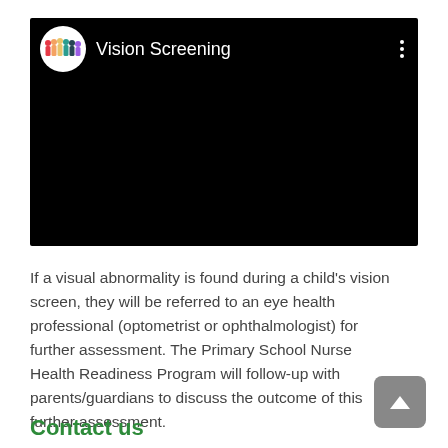[Figure (screenshot): A video thumbnail showing 'Vision Screening' with a colorful people logo on a black background, three-dot menu in top right corner.]
If a visual abnormality is found during a child's vision screen, they will be referred to an eye health professional (optometrist or ophthalmologist) for further assessment. The Primary School Nurse Health Readiness Program will follow-up with parents/guardians to discuss the outcome of this further assessment.
Contact us